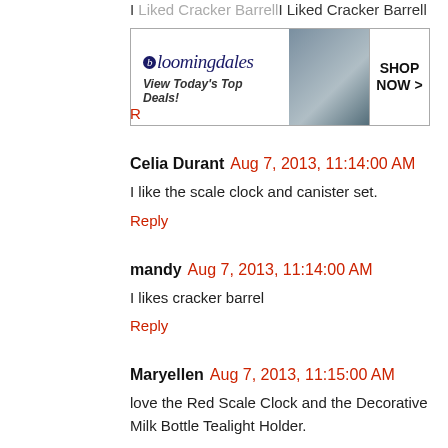I Liked Cracker Barrell
[Figure (other): Bloomingdales advertisement banner: logo 'bloomingdales', tagline 'View Today's Top Deals!', image of woman in hat, 'SHOP NOW >' button]
Reply
Celia Durant  Aug 7, 2013, 11:14:00 AM
I like the scale clock and canister set.
Reply
mandy  Aug 7, 2013, 11:14:00 AM
I likes cracker barrel
Reply
Maryellen  Aug 7, 2013, 11:15:00 AM
love the Red Scale Clock and the Decorative Milk Bottle Tealight Holder.
Reply